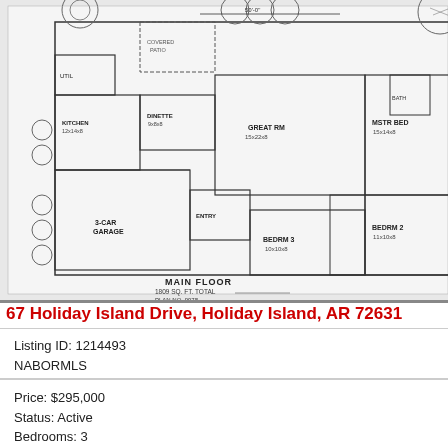[Figure (schematic): House floor plan drawing showing main floor layout with kitchen, dinette, great room, master bedroom, bedrooms, garage, entry, covered patio, and a separate bonus room plan. Labels include MAIN FLOOR 1809 SQ. FT. TOTAL, PLAN NO. 9978, and BONUS ROOM.]
67 Holiday Island Drive, Holiday Island, AR 72631
Listing ID: 1214493
NABORMLS
Price: $295,000
Status: Active
Bedrooms: 3
Total Baths: 2